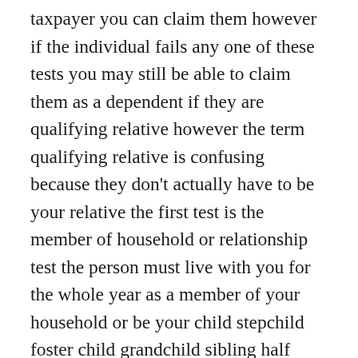taxpayer you can claim them however if the individual fails any one of these tests you may still be able to claim them as a dependent if they are qualifying relative however the term qualifying relative is confusing because they don't actually have to be your relative the first test is the member of household or relationship test the person must live with you for the whole year as a member of your household or be your child stepchild foster child grandchild sibling half sibling step-sibling parent grandparent step parent niece nephew uncle aunt child in-law sibling in law or parent in law so you'll note that as long as a person lives with you for the whole year as a member of your household they may be a qualifying relative even if they are not one of these listed relations however the one that's going to trip up most people is the person